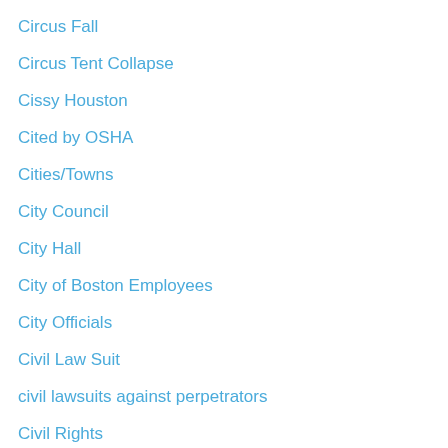Circus Fall
Circus Tent Collapse
Cissy Houston
Cited by OSHA
Cities/Towns
City Council
City Hall
City of Boston Employees
City Officials
Civil Law Suit
civil lawsuits against perpetrators
Civil Rights
Civil Rights Violation
Civil Unrest
Civil War
Claremont NH
Classic Rock
Classical
Classical Music
Classics